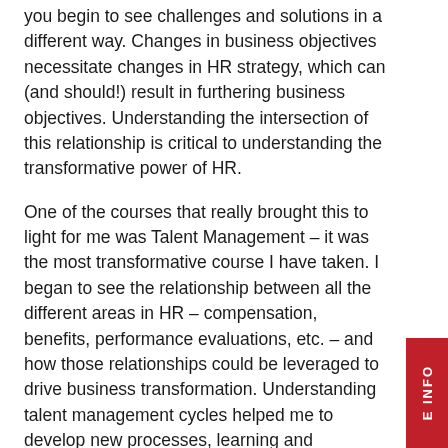you begin to see challenges and solutions in a different way. Changes in business objectives necessitate changes in HR strategy, which can (and should!) result in furthering business objectives. Understanding the intersection of this relationship is critical to understanding the transformative power of HR.
One of the courses that really brought this to light for me was Talent Management – it was the most transformative course I have taken. I began to see the relationship between all the different areas in HR – compensation, benefits, performance evaluations, etc. – and how those relationships could be leveraged to drive business transformation. Understanding talent management cycles helped me to develop new processes, learning and development tools, and performance evaluation programs which increased efficiency and reduced cost.